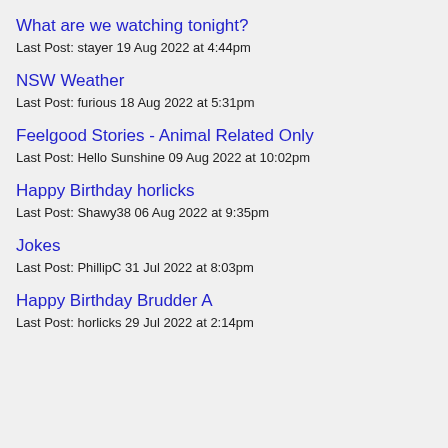What are we watching tonight?
Last Post: stayer 19 Aug 2022 at 4:44pm
NSW Weather
Last Post: furious 18 Aug 2022 at 5:31pm
Feelgood Stories - Animal Related Only
Last Post: Hello Sunshine 09 Aug 2022 at 10:02pm
Happy Birthday horlicks
Last Post: Shawy38 06 Aug 2022 at 9:35pm
Jokes
Last Post: PhillipC 31 Jul 2022 at 8:03pm
Happy Birthday Brudder A
Last Post: horlicks 29 Jul 2022 at 2:14pm